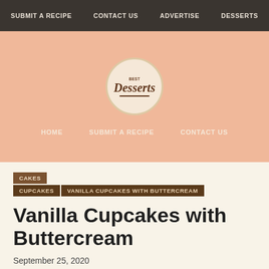SUBMIT A RECIPE  CONTACT US  ADVERTISE  DESSERTS
[Figure (logo): Best Desserts circular logo with script text on peach background]
HOME  SUBMIT A RECIPE  CONTACT US
CAKES  CUPCAKES  VANILLA CUPCAKES WITH BUTTERCREAM
Vanilla Cupcakes with Buttercream
September 25, 2020